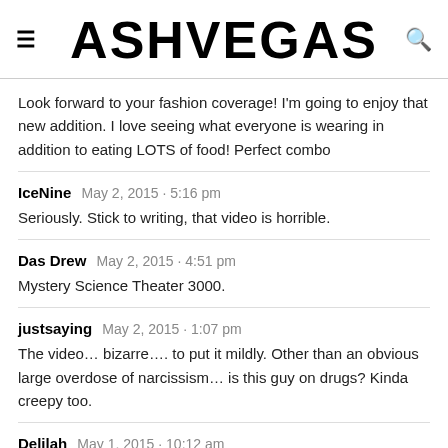ASHVEGAS
Look forward to your fashion coverage! I'm going to enjoy that new addition. I love seeing what everyone is wearing in addition to eating LOTS of food! Perfect combo
IceNine May 2, 2015 · 5:16 pm
Seriously. Stick to writing, that video is horrible.
Das Drew May 2, 2015 · 4:51 pm
Mystery Science Theater 3000.
justsaying May 2, 2015 · 1:07 pm
The video… bizarre…. to put it mildly. Other than an obvious large overdose of narcissism… is this guy on drugs? Kinda creepy too.
Delilah May 1, 2015 · 10:12 am